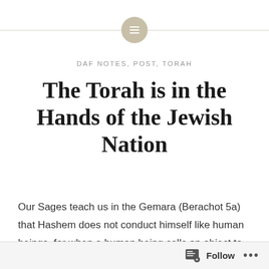[Figure (logo): Circular icon with lines/text symbol on a tan/beige background, flanked by horizontal lines on left and right]
DAF NOTES, POST, TORAH
The Torah is in the Hands of the Jewish Nation
Our Sages teach us in the Gemara (Berachot 5a) that Hashem does not conduct himself like human beings, for when a human being sells an object to another, the seller is upset about the loss of the object he was
Follow ...